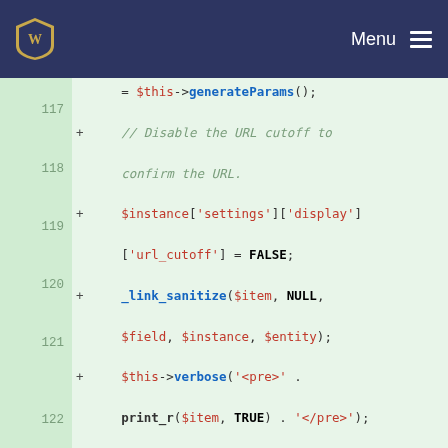Menu
[Figure (screenshot): Code diff showing PHP test code lines 117-125 with green background and line numbers, featuring PHP variables, method calls and string literals in syntax-highlighted monospace font.]